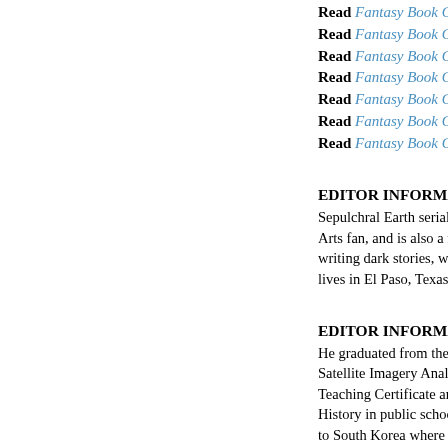Read Fantasy Book Criti...
Read Fantasy Book Criti...
Read Fantasy Book Criti...
Read Fantasy Book Criti...
Read Fantasy Book Criti...
Read Fantasy Book Criti...
Read Fantasy Book Criti...
EDITOR INFORMATIO...
Sepulchral Earth serial sto... Arts fan, and is also a mem... writing dark stories, which... lives in El Paso, Texas wit...
EDITOR INFORMATIO...
He graduated from the Eas... Satellite Imagery Analysis... Teaching Certificate and h... History in public schools h... to South Korea where he te...
Tyson is constantly readin... that attempts to teach him ... a chilled and frosty adult b...
OVERVIEW/ANALYSIS...
reasons:
a) It focusses on urban fan...